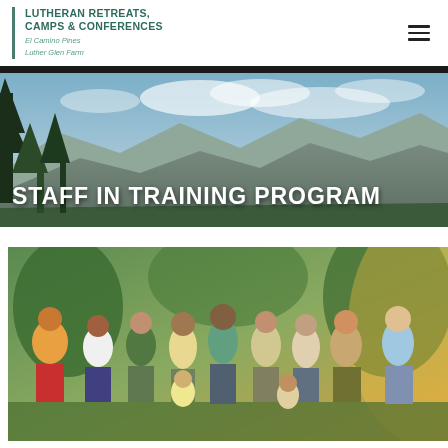LUTHERAN RETREATS, CAMPS & CONFERENCES
El Camino Pines
Luther Glen Farm
[Figure (photo): Mountain landscape with pine trees and cloudy sky — hero banner for Staff in Training Program page]
STAFF IN TRAINING PROGRAM
[Figure (photo): Group photo of young people (staff in training) standing together outdoors with trees and golden sunlight in background]